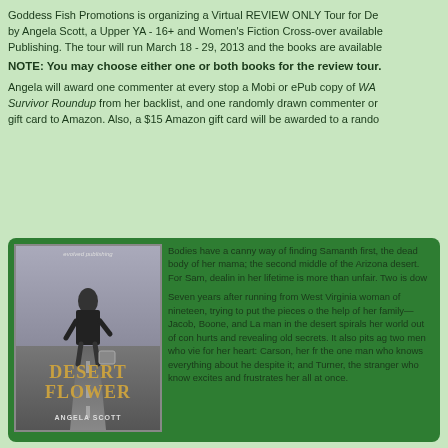Goddess Fish Promotions is organizing a Virtual REVIEW ONLY Tour for De by Angela Scott, a Upper YA - 16+ and Women's Fiction Cross-over available Publishing. The tour will run March 18 - 29, 2013 and the books are available
NOTE: You may choose either one or both books for the review tour.
Angela will award one commenter at every stop a Mobi or ePub copy of WA Survivor Roundup from her backlist, and one randomly drawn commenter or gift card to Amazon. Also, a $15 Amazon gift card will be awarded to a rando
[Figure (illustration): Book cover for Desert Flower by Angela Scott, showing a young woman in a black dress standing on a desert road with luggage, published by Evolved Publishing]
Bodies have a canny way of finding Samanth first, the dead body of her mama; the second middle of the Arizona desert. For Sam, dealin in her lifetime is more than unfair. Two is dow Seven years after running from West Virginia woman of nineteen, trying to put the pieces o the help of her family—Jacob, Boone, and La man in the desert spirals her world out of con hurts and revealing old secrets. It also pits ag two men who vie for her heart: Carson, her fr the one man who knows everything about he despite it; and Turner, the stranger who know excites and frustrates her all at once.